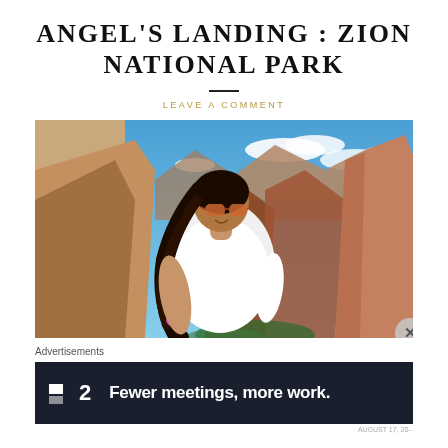ANGEL'S LANDING : ZION NATIONAL PARK
LEAVE A COMMENT
[Figure (photo): A woman with long braided dark hair wearing sunglasses and a white t-shirt stands at a scenic overlook at Angel's Landing in Zion National Park. Behind her are dramatic red sandstone cliffs, deep canyon, green vegetation at the bottom, and a blue sky with white clouds.]
Advertisements
[Figure (other): Advertisement banner with dark navy background showing the Forecast 2 (F2) logo and the text 'Fewer meetings, more work.']